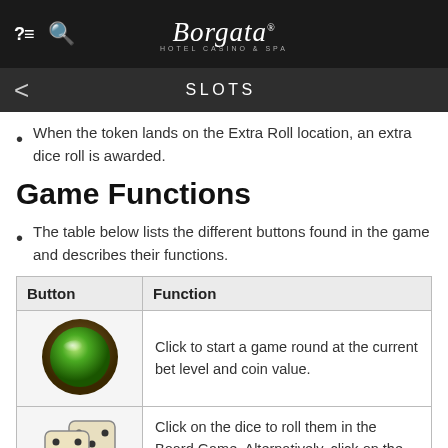Borgata Hotel Casino & Spa — SLOTS
When the token lands on the Extra Roll location, an extra dice roll is awarded.
Game Functions
The table below lists the different buttons found in the game and describes their functions.
| Button | Function |
| --- | --- |
| [green button image] | Click to start a game round at the current bet level and coin value. |
| [dice image] | Click on the dice to roll them in the Board Game. Alternatively, click on the ROLL button. |